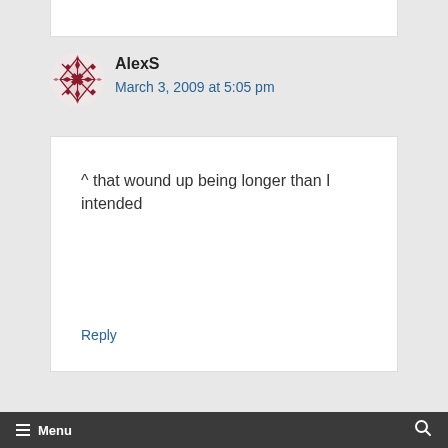[Figure (illustration): Decorative avatar icon with a red/maroon geometric snowflake-like quilt pattern symbol for user AlexS]
AlexS
March 3, 2009 at 5:05 pm
^ that wound up being longer than I intended
Reply
Menu